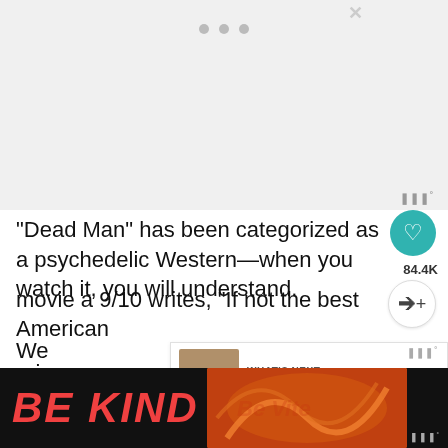[Figure (photo): Top image area (slideshow/carousel placeholder with three dots), light gray background]
“Dead Man” has been categorized as a psychedelic Western—when you watch it, you will understand.
A critic on Rotten Tomatoes who rate[d the] movie a 9/10 writes, “If not the best American [Western, almost certainly the most ori[ginal”]
[Figure (screenshot): WHAT'S NEXT banner with thumbnail showing book cover 'E SHALL REM' and text 'Top Native American...']
[Figure (screenshot): Advertisement banner at bottom: 'BE KIND' in large red italic text on black background with decorative orange/red swirl graphic]